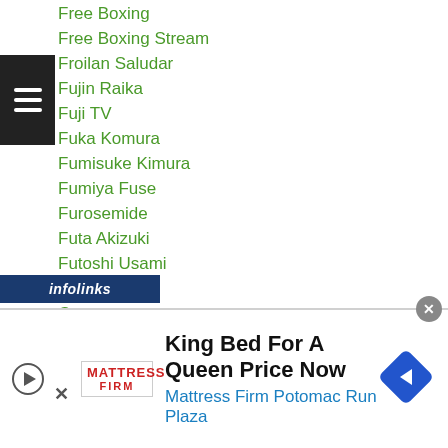Free Boxing
Free Boxing Stream
Froilan Saludar
Fujin Raika
Fuji TV
Fuka Komura
Fumisuke Kimura
Fumiya Fuse
Furosemide
Futa Akizuki
Futoshi Usami
Fuya Tomita
G+
Gafur Rakhimov
Gaku Aikawa
Gakuya Furuhashi
Gagatay
infolinks
King Bed For A Queen Price Now
Mattress Firm Potomac Run Plaza